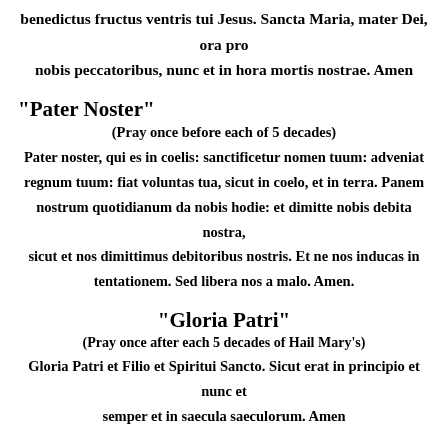benedictus fructus ventris tui Jesus. Sancta Maria, mater Dei, ora pro nobis peccatoribus, nunc et in hora mortis nostrae. Amen
"Pater Noster"
(Pray once before each of 5 decades)
Pater noster, qui es in coelis:  sanctificetur nomen tuum:  adveniat regnum tuum: fiat voluntas tua, sicut in coelo, et in terra.  Panem nostrum quotidianum da nobis hodie: et dimitte nobis debita nostra, sicut et nos dimittimus debitoribus nostris.  Et ne nos inducas in tentationem.  Sed libera nos a malo.  Amen.
"Gloria Patri"
(Pray once after each 5 decades of Hail Mary's)
Gloria Patri et Filio et Spiritui Sancto. Sicut erat in principio et nunc et semper et in saecula saeculorum. Amen